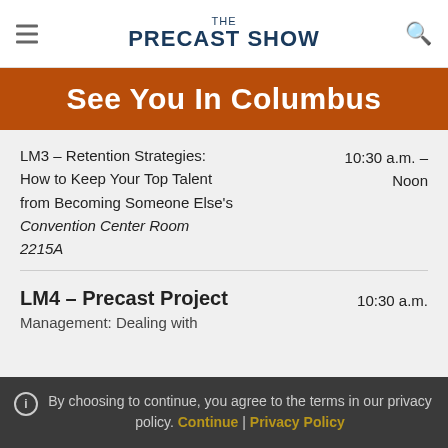THE PRECAST SHOW
See You In Columbus
LM3 – Retention Strategies: How to Keep Your Top Talent from Becoming Someone Else's
10:30 a.m. – Noon
Convention Center Room 2215A
LM4 – Precast Project
Management: Dealing with
10:30 a.m.
By choosing to continue, you agree to the terms in our privacy policy. Continue | Privacy Policy